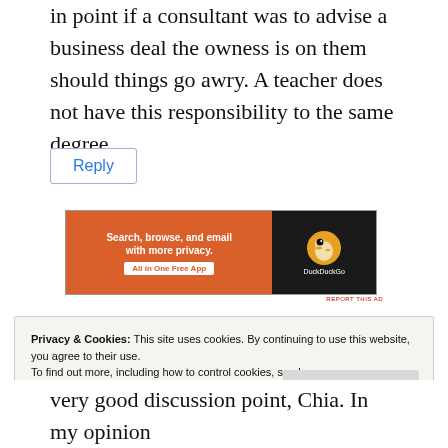in point if a consultant was to advise a business deal the owness is on them should things go awry. A teacher does not have this responsibility to the same degree.
Reply
[Figure (other): DuckDuckGo advertisement banner: orange left side with text 'Search, browse, and email with more privacy. All in One Free App' and dark right side with DuckDuckGo logo and brand name.]
REPORT THIS AD
Privacy & Cookies: This site uses cookies. By continuing to use this website, you agree to their use.
To find out more, including how to control cookies, see here:
Cookie Policy
Close and accept
very good discussion point, Chia. In my opinion